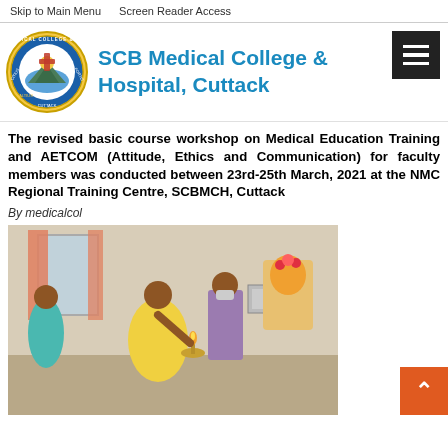Skip to Main Menu   Screen Reader Access
SCB Medical College & Hospital, Cuttack
The revised basic course workshop on Medical Education Training and AETCOM (Attitude, Ethics and Communication) for faculty members was conducted between 23rd-25th March, 2021 at the NMC Regional Training Centre, SCBMCH, Cuttack
By medicalcol
[Figure (photo): Photo of a ceremony/puja being conducted indoors, with a woman in yellow sari lighting a lamp in front of a deity, and other people including a man in a mask standing nearby.]